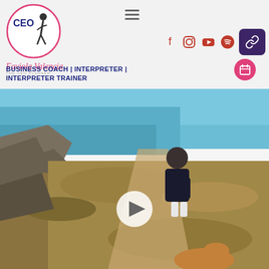[Figure (logo): CEO Faviola Valencia logo — circular badge with silhouette figure, text 'CEO', and script name 'Faviola Valencia' with subtitle 'the ceo planner']
BUSINESS COACH | INTERPRETER | INTERPRETER TRAINER
[Figure (photo): Woman with curly hair and sunglasses standing on a coastal cliff trail with ocean view, dog visible in foreground, video play button overlay in center]